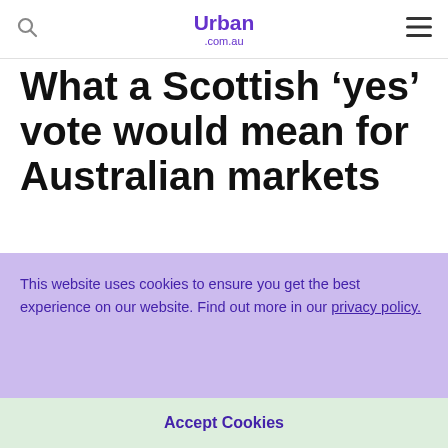Urban .com.au
What a Scottish ‘yes’ vote would mean for Australian markets
This website uses cookies to ensure you get the best experience on our website. Find out more in our privacy policy.
Accept Cookies